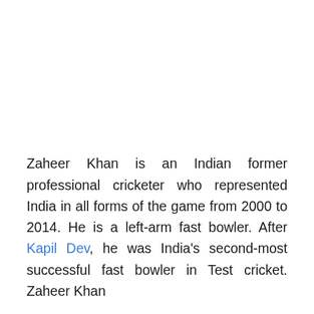Zaheer Khan is an Indian former professional cricketer who represented India in all forms of the game from 2000 to 2014. He is a left-arm fast bowler. After Kapil Dev, he was India's second-most successful fast bowler in Test cricket. Zaheer Khan